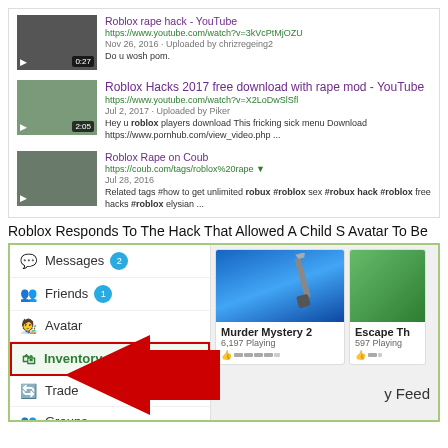[Figure (screenshot): Google search results showing YouTube and Coub links related to Roblox rape hack searches, with video thumbnails]
Roblox Responds To The Hack That Allowed A Child S Avatar To Be
[Figure (screenshot): Roblox game interface screenshot showing left navigation menu with Messages, Friends, Avatar, Inventory (highlighted in red box), Trade, Groups, Forum items. Right side shows game cards: Murder Mystery 2 (6,197 Playing) and Escape Th... (597 Playing). A large red arrow points to Inventory. Feed label visible bottom right.]